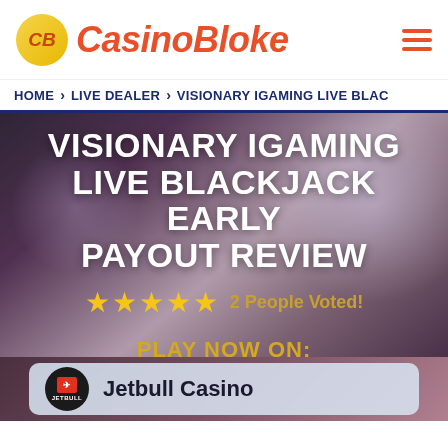CasinoBloke
HOME > LIVE DEALER > VISIONARY IGAMING LIVE BLAC
VISIONARY IGAMING LIVE BLACKJACK EARLY PAYOUT REVIEW
★★★★★ 2 People Voted!
PLAY NOW ON:
Jetbull Casino